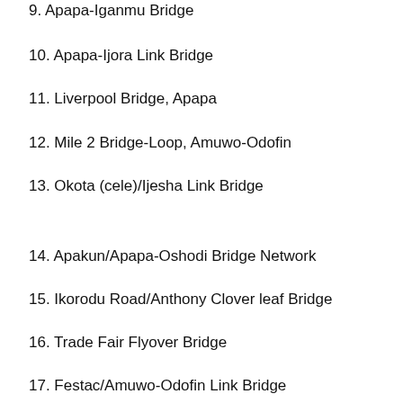9. Apapa-Iganmu Bridge
10. Apapa-Ijora Link Bridge
11. Liverpool Bridge, Apapa
12. Mile 2 Bridge-Loop, Amuwo-Odofin
13. Okota (cele)/Ijesha Link Bridge
14. Apakun/Apapa-Oshodi Bridge Network
15. Ikorodu Road/Anthony Clover leaf Bridge
16. Trade Fair Flyover Bridge
17. Festac/Amuwo-Odofin Link Bridge